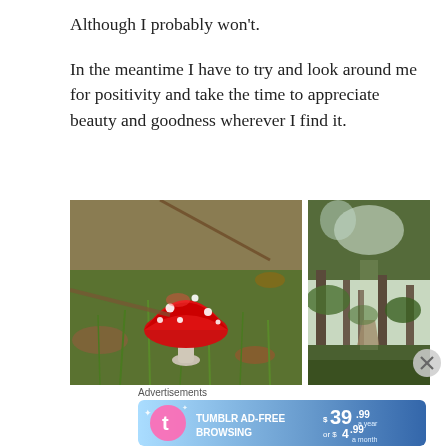Although I probably won't.
In the meantime I have to try and look around me for positivity and take the time to appreciate beauty and goodness wherever I find it.
[Figure (photo): Close-up photo of a red fly agaric mushroom with white spots growing in green grass and fallen leaves]
[Figure (photo): Photo of a sunlit forest path with trees and undergrowth on either side]
Advertisements
[Figure (other): Tumblr Ad-Free Browsing advertisement banner showing $39.99 a year or $4.99 a month]